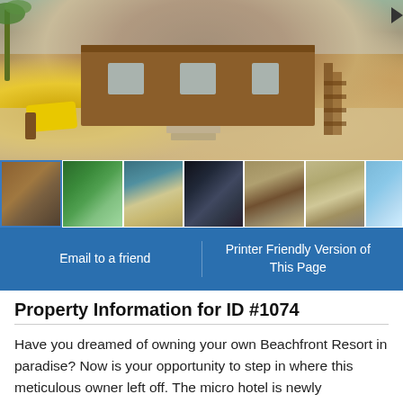[Figure (photo): Main photo of a beachfront wooden cabin/resort with yellow lounge chair on sandy beach, coconut palms visible, stairs on right side]
[Figure (photo): Row of 7 thumbnail photos showing various views of the beachfront resort property including building, tropical gardens, beach area, water, thatched-roof structures, and shoreline]
Email to a friend
Printer Friendly Version of This Page
Property Information for ID #1074
Have you dreamed of owning your own Beachfront Resort in paradise? Now is your opportunity to step in where this meticulous owner left off. The micro hotel is newly constructed and sits amongst the coconut palms on 240 feet of pristine Caribbean Sea beachfront.